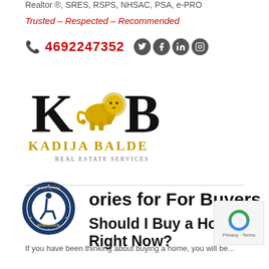Realtor ®, SRES, RSPS, NHSAC, PSA, e-PRO
Trusted – Respected – Recommended
📞 4692247352
[Figure (logo): Kadija Balde Real Estate Services logo with KB letters and golden lion]
ories for For Buyers
Should I Buy a Home Right Now?
If you have been thinking about buying a home, you will be...